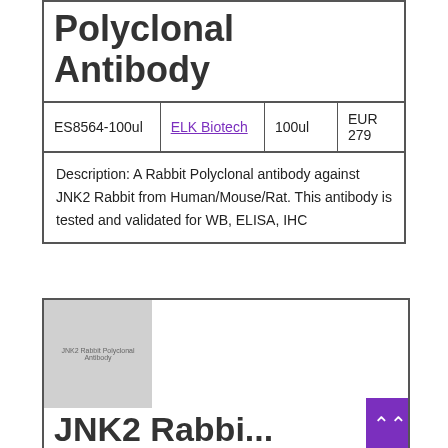Polyclonal Antibody
|  |  |  |  |
| --- | --- | --- | --- |
| ES8564-100ul | ELK Biotech | 100ul | EUR 279 |
Description: A Rabbit Polyclonal antibody against JNK2 Rabbit from Human/Mouse/Rat. This antibody is tested and validated for WB, ELISA, IHC
[Figure (illustration): Thumbnail image placeholder for JNK2 Rabbit Polyclonal Antibody product with text label]